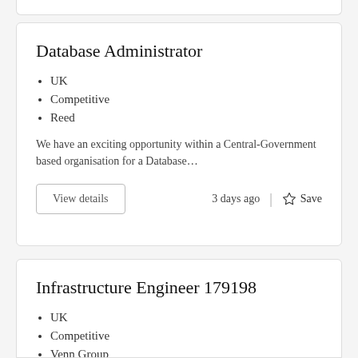Database Administrator
UK
Competitive
Reed
We have an exciting opportunity within a Central-Government based organisation for a Database…
View details
3 days ago  |  ☆ Save
Infrastructure Engineer 179198
UK
Competitive
Venn Group
Our client, a major global development organisation, are d…